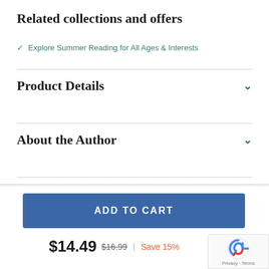Related collections and offers
Explore Summer Reading for All Ages & Interests
Product Details
About the Author
ADD TO CART
$14.49  $16.99  |  Save 15%